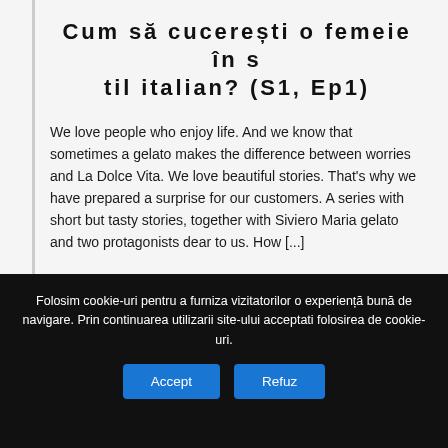Cum să cucerești o femeie în stil italian? (S1, Ep1)
We love people who enjoy life. And we know that sometimes a gelato makes the difference between worries and La Dolce Vita. We love beautiful stories. That's why we have prepared a surprise for our customers. A series with short but tasty stories, together with Siviero Maria gelato and two protagonists dear to us. How [...]
Check out this video project
Folosim cookie-uri pentru a furniza vizitatorilor o experiență bună de navigare. Prin continuarea utilizarii site-ului acceptati folosirea de cookie-uri.
Accept
Refuz